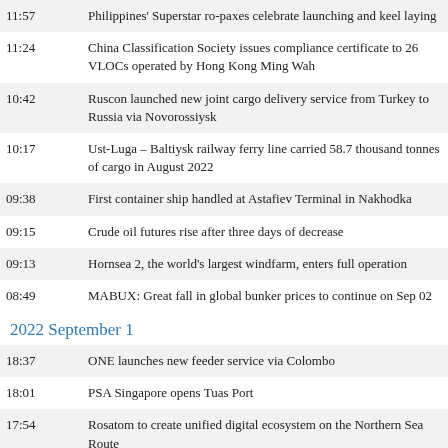11:57 Philippines' Superstar ro-paxes celebrate launching and keel laying
11:24 China Classification Society issues compliance certificate to 26 VLOCs operated by Hong Kong Ming Wah
10:42 Ruscon launched new joint cargo delivery service from Turkey to Russia via Novorossiysk
10:17 Ust-Luga – Baltiysk railway ferry line carried 58.7 thousand tonnes of cargo in August 2022
09:38 First container ship handled at Astafiev Terminal in Nakhodka
09:15 Crude oil futures rise after three days of decrease
09:13 Hornsea 2, the world's largest windfarm, enters full operation
08:49 MABUX: Great fall in global bunker prices to continue on Sep 02
2022 September 1
18:37 ONE launches new feeder service via Colombo
18:01 PSA Singapore opens Tuas Port
17:54 Rosatom to create unified digital ecosystem on the Northern Sea Route
17:40 Alfa Laval acquires a supplier of tank cleaning equipment and